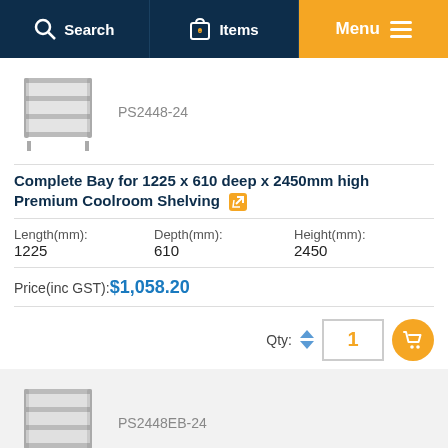Search | 0 Items | Menu
[Figure (photo): Shelving unit product image for PS2448-24]
PS2448-24
Complete Bay for 1225 x 610 deep x 2450mm high Premium Coolroom Shelving
| Length(mm) | Depth(mm) | Height(mm) |
| --- | --- | --- |
| 1225 | 610 | 2450 |
Price(inc GST): $1,058.20
Qty: 1
[Figure (photo): Shelving unit product image for PS2448EB-24]
PS2448EB-24
Extra bay for 1225 x 610 deep x 2450mm high Premium Coolroom Shelving